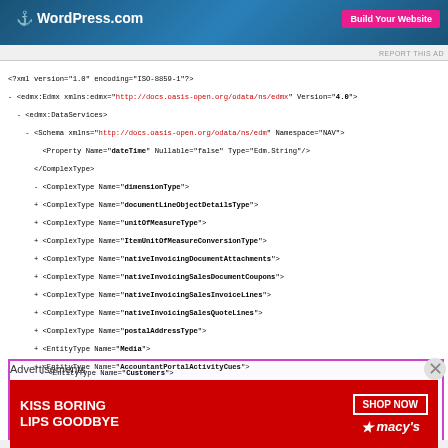[Figure (screenshot): WordPress.com top advertisement banner with 'Build Your Website' button]
REPORT THIS AD
<?xml version="1.0" encoding="ISO-8859-1"?>
- <edmx:Edmx xmlns:edmx="http://docs.oasis-open.org/odata/ns/edmx" Version="4.0">
  - <edmx:DataServices>
    - <Schema xmlns="http://docs.oasis-open.org/odata/ns/edm" Namespace="NAV">
        <Property Name="dateTime" Nullable="false" Type="Edm.String"/>
      </ComplexType>
      - <ComplexType Name="dimensionType">
      + <ComplexType Name="documentLineObjectDetailsType">
      + <ComplexType Name="unitOfMeasureType">
      + <ComplexType Name="ItemUnitOfMeasureConversionType">
      + <ComplexType Name="nativeInvoicingDocumentAttachments">
      + <ComplexType Name="nativeInvoicingSalesDocumentCoupons">
      + <ComplexType Name="nativeInvoicingSalesInvoiceLines">
      + <ComplexType Name="nativeInvoicingSalesQuoteLines">
      + <ComplexType Name="postalAddressType">
      + <EntityType Name="Media">
      + <EntityType Name="AccountantPortalActivityCues">
      + <EntityType Name="AccountantPortalFinanceCues">
      + <EntityType Name="AccountantPortalUserTasks">
      - <EntityType Name="Customers">
          - <Key>
              <PropertyRef Name="No"/>
            </Key>
          - <Property Name="No" Nullable="false" Type="Edm.String" MaxLength="20">
              <Annotation String="No" Term="NAV.LabelId"/>
            - <Annotation Term="NAV.NavType">
                <EnumMember>NAV.NavType/String</EnumMember>
              </Annotation>
              <Annotation Term="NAV.AllowEditOnCreate" Bool="true"/>
            </Property>
          - <Property Name="Name" Type="Edm.String" MaxLength="50">
              <Annotation String="Name" Term="NAV.LabelId"/>
            - <Annotation Term="NAV.NavType">
                <EnumMember>NAV.NavType/String</EnumMember>
              </Annotation>
            </Property>
Advertisements
[Figure (photo): Macy's advertisement: 'KISS BORING LIPS GOODBYE' with SHOP NOW button and Macy's logo]